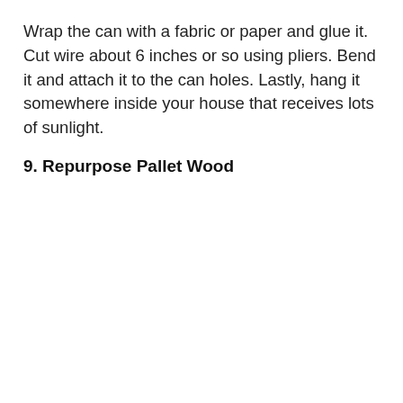Wrap the can with a fabric or paper and glue it. Cut wire about 6 inches or so using pliers. Bend it and attach it to the can holes. Lastly, hang it somewhere inside your house that receives lots of sunlight.
9. Repurpose Pallet Wood